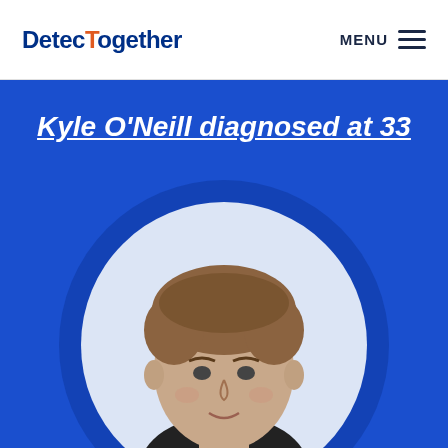[Figure (logo): DetecTogether logo with blue and orange text]
MENU
Kyle O'Neill diagnosed at 33
[Figure (photo): Portrait photo of a young man (Kyle O'Neill) in a circular frame on a blue background with a darker blue circle behind it]